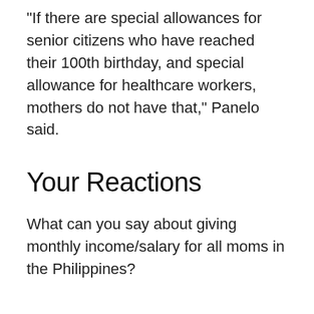“If there are special allowances for senior citizens who have reached their 100th birthday, and special allowance for healthcare workers, mothers do not have that,” Panelo said.
Your Reactions
What can you say about giving monthly income/salary for all moms in the Philippines?
51 comments… add one ↓
Mac Uead